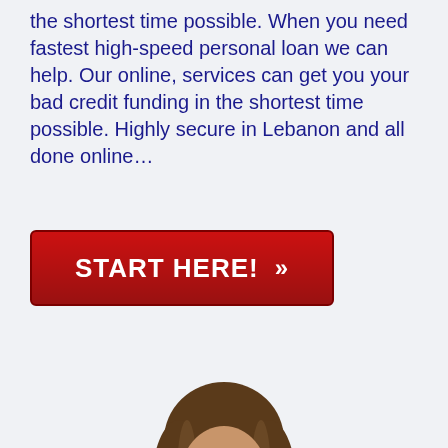the shortest time possible. When you need fastest high-speed personal loan we can help. Our online, services can get you your bad credit funding in the shortest time possible. Highly secure in Lebanon and all done online...
[Figure (other): Red call-to-action button with white text 'START HERE!' and double chevron '>>' symbol]
[Figure (photo): Photo of a smiling young woman with long brown wavy hair, wearing a dark blazer over a light blue shirt, against a white/light background]